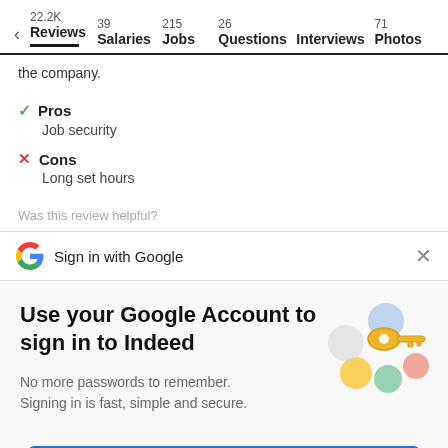22.2K Reviews  39 Salaries  215 Jobs  26 Questions  Interviews  71 Photos
the company.
Pros
Job security
Cons
Long set hours
Was this review helpful?
[Figure (screenshot): Sign in with Google bar with Google G logo and X close button]
Use your Google Account to sign in to Indeed
No more passwords to remember.
Signing in is fast, simple and secure.
[Figure (illustration): Colorful key illustration with circles]
Continue